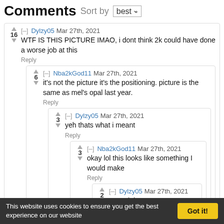Comments Sort by best
Dylzy05 Mar 27th, 2021 — WTF IS THIS PICTURE IMAO, i dont think 2k could have done a worse job at this — 16 votes — Reply
Nba2kGod11 Mar 27th, 2021 — it's not the picture it's the positioning. picture is the same as mel's opal last year. — 6 votes — Reply
Dylzy05 Mar 27th, 2021 — yeh thats what i meant — 3 votes — Reply
Nba2kGod11 Mar 27th, 2021 — okay lol this looks like something I would make — 3 votes — Reply
Dylzy05 Mar 27th, 2021 — same lol — 2 votes — Reply
This website uses cookies to ensure you get the best experience on our website